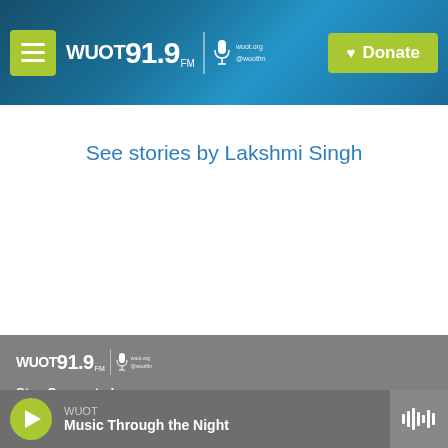WUOT 91.9 FM — wuot.org @wuotfm | Donate
See stories by Lakshmi Singh
[Figure (logo): WUOT 91.9 FM logo with microphone icon, wuot.org and @wuotfm text]
Stay Connected
[Figure (infographic): Social media icons: Twitter and Facebook circular buttons]
WUOT — Music Through the Night